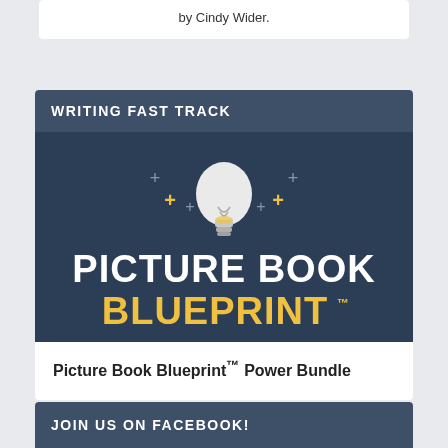by Cindy Wider.
WRITING FAST TRACK
[Figure (illustration): Picture Book Blueprint logo on dark navy background with lightbulb illustration and decorative plus/star symbols. Text reads PICTURE BOOK BLUEPRINT with TM mark.]
Picture Book Blueprint™ Power Bundle
JOIN US ON FACEBOOK!